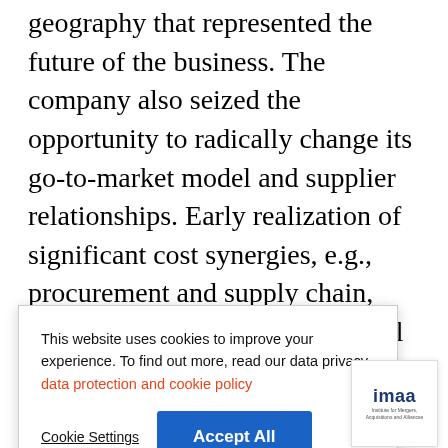geography that represented the future of the business. The company also seized the opportunity to radically change its go-to-market model and supplier relationships. Early realization of significant cost synergies, e.g., procurement and supply chain, funded the more transformational strategic shifts, but the view from the beginning had been that the deal should trigger
This website uses cookies to improve your experience. To find out more, read our data privacy data protection and cookie policy
Cookie Settings  Accept All
[Figure (logo): IMAA - Institute for Mergers, Acquisitions and Alliances logo]
b